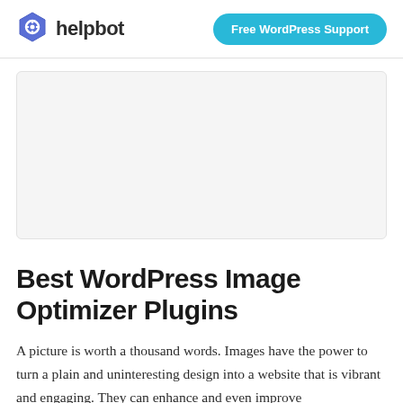helpbot | Free WordPress Support
[Figure (photo): Blank/placeholder image area with light gray background and border]
Best WordPress Image Optimizer Plugins
A picture is worth a thousand words. Images have the power to turn a plain and uninteresting design into a website that is vibrant and engaging. They can enhance and even improve